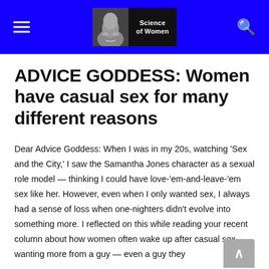Science of Women
ADVICE GODDESS: Women have casual sex for many different reasons
Dear Advice Goddess: When I was in my 20s, watching 'Sex and the City,' I saw the Samantha Jones character as a sexual role model — thinking I could have love-'em-and-leave-'em sex like her. However, even when I only wanted sex, I always had a sense of loss when one-nighters didn't evolve into something more. I reflected on this while reading your recent column about how women often wake up after casual sex wanting more from a guy — even a guy they